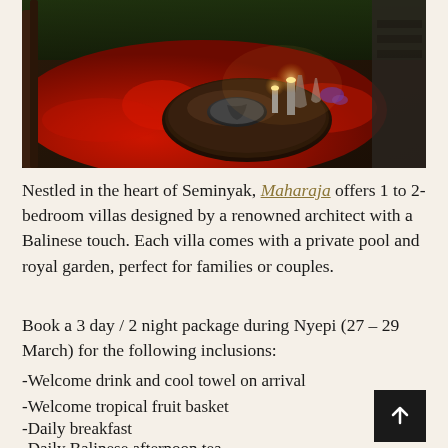[Figure (photo): A romantic outdoor dining setup at Maharaja villa in Seminyak, Bali. A round dark wooden table is set with plates and candles, surrounded by a pool or bed of red flower petals on the ground, with lush garden in the background at night.]
Nestled in the heart of Seminyak, Maharaja offers 1 to 2-bedroom villas designed by a renowned architect with a Balinese touch. Each villa comes with a private pool and royal garden, perfect for families or couples.
Book a 3 day / 2 night package during Nyepi (27 – 29 March) for the following inclusions:
-Welcome drink and cool towel on arrival
-Welcome tropical fruit basket
-Daily breakfast
-Daily Balinese afternoon tea